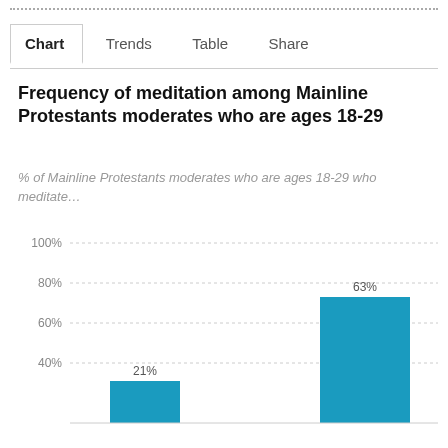Chart  Trends  Table  Share
Frequency of meditation among Mainline Protestants moderates who are ages 18-29
% of Mainline Protestants moderates who are ages 18-29 who meditate…
[Figure (bar-chart): Frequency of meditation among Mainline Protestants moderates who are ages 18-29]